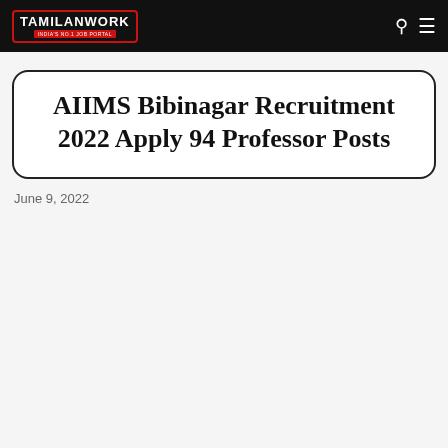TAMILANWORK
AIIMS Bibinagar Recruitment 2022 Apply 94 Professor Posts
June 9, 2022